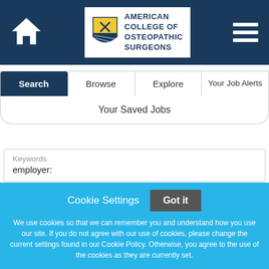[Figure (logo): American College of Osteopathic Surgeons logo with shield emblem and text]
Search | Browse | Explore | Your Job Alerts
Your Saved Jobs
Keywords
employer:
Cookie Settings
Got it
We use cookies so that we can remember you and understand how you use our site. If you do not agree with our use of cookies, please change the current settings found in our Cookie Policy. Otherwise, you agree to the use of the cookies as they are currently set.